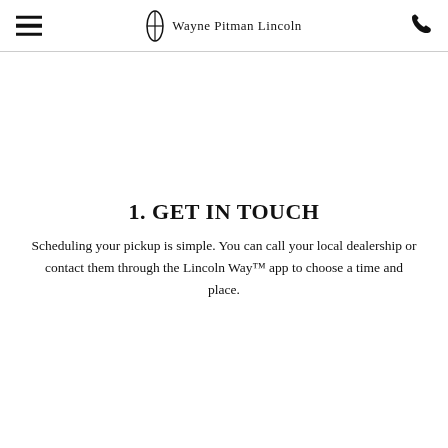Wayne Pitman Lincoln
1. GET IN TOUCH
Scheduling your pickup is simple. You can call your local dealership or contact them through the Lincoln Way™ app to choose a time and place.